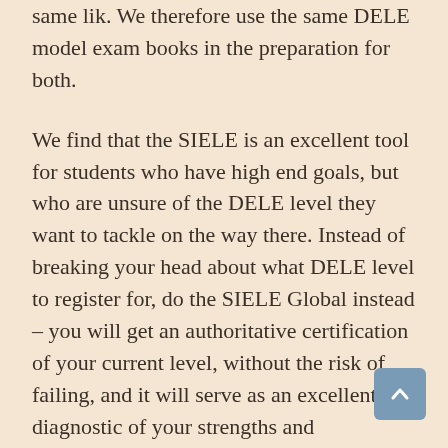same lik. We therefore use the same DELE model exam books in the preparation for both.
We find that the SIELE is an excellent tool for students who have high end goals, but who are unsure of the DELE level they want to tackle on the way there. Instead of breaking your head about what DELE level to register for, do the SIELE Global instead – you will get an authoritative certification of your current level, without the risk of failing, and it will serve as an excellent diagnostic of your strengths and weaknesses, which one can then address on the way to the ultimate goal.